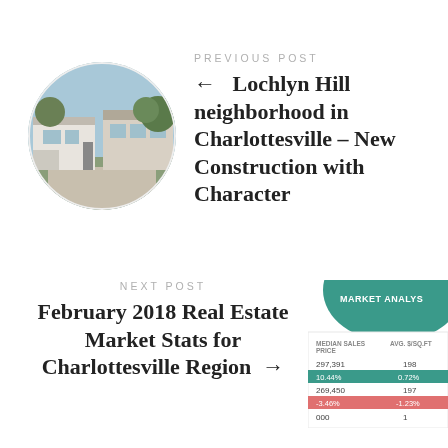PREVIOUS POST
[Figure (photo): Circular thumbnail photo of Lochlyn Hill neighborhood houses — modern white construction with trees in background]
← Lochlyn Hill neighborhood in Charlottesville – New Construction with Character
NEXT POST
February 2018 Real Estate Market Stats for Charlottesville Region →
[Figure (table-as-image): Partial market analysis card showing MEDIAN SALES PRICE and AVG. $/SQ.FT columns with values 297,391 / 198 / 10.44% / 0.72% / 269,450 / 197 / -3.46% / -1.23% / 000 / 1]